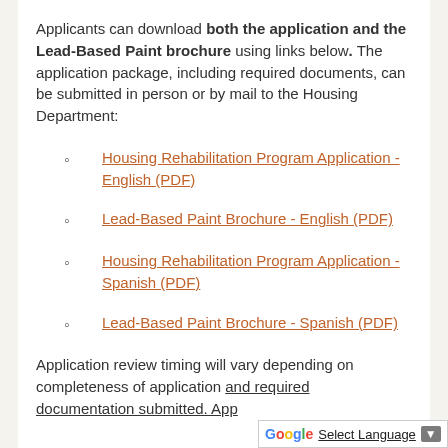Applicants can download both the application and the Lead-Based Paint brochure using links below. The application package, including required documents, can be submitted in person or by mail to the Housing Department:
Housing Rehabilitation Program Application - English (PDF)
Lead-Based Paint Brochure - English (PDF)
Housing Rehabilitation Program Application - Spanish (PDF)
Lead-Based Paint Brochure - Spanish (PDF)
Application review timing will vary depending on completeness of application and required documentation submitted. App...